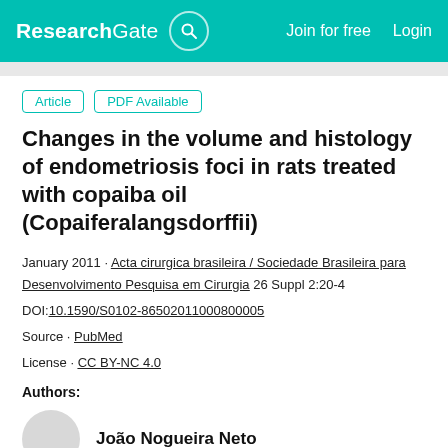ResearchGate  Join for free  Login
Article  PDF Available
Changes in the volume and histology of endometriosis foci in rats treated with copaiba oil (Copaiferalangsdorffii)
January 2011 · Acta cirurgica brasileira / Sociedade Brasileira para Desenvolvimento Pesquisa em Cirurgia 26 Suppl 2:20-4
DOI:10.1590/S0102-86502011000800005
Source · PubMed
License · CC BY-NC 4.0
Authors:
João Nogueira Neto